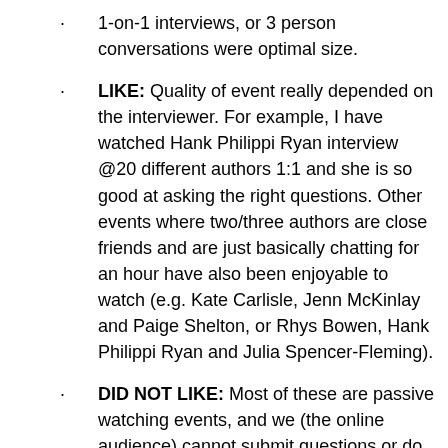1-on-1 interviews, or 3 person conversations were optimal size.
LIKE: Quality of event really depended on the interviewer. For example, I have watched Hank Philippi Ryan interview @20 different authors 1:1 and she is so good at asking the right questions. Other events where two/three authors are close friends and are just basically chatting for an hour have also been enjoyable to watch (e.g. Kate Carlisle, Jenn McKinlay and Paige Shelton, or Rhys Bowen, Hank Philippi Ryan and Julia Spencer-Fleming).
DID NOT LIKE: Most of these are passive watching events, and we (the online audience) cannot submit questions or do any online chatting with other attendees.